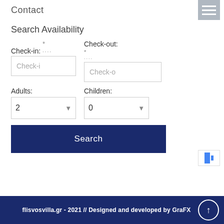Contact
Search Availability
Check-in: *
Check-out: *
Adults:
Children:
2
0
Search
flisvosvilla.gr - 2021 // Designed and developed by GraFX